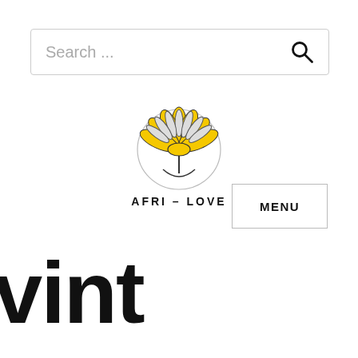Search ...
[Figure (logo): Afri-Love logo: yellow protea flower with grey outline, text AFRI-LOVE below]
MENU
vint age